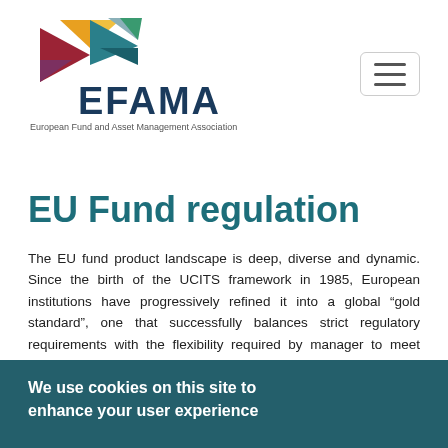[Figure (logo): EFAMA logo with colorful geometric arrows and text 'EFAMA' in dark navy, subtitle 'European Fund and Asset Management Association']
EU Fund regulation
The EU fund product landscape is deep, diverse and dynamic. Since the birth of the UCITS framework in 1985, European institutions have progressively refined it into a global “gold standard”, one that successfully balances strict regulatory requirements with the flexibility required by manager to meet evolving client demands. The successful evolution of UCITS was followed by the creation of
We use cookies on this site to enhance your user experience